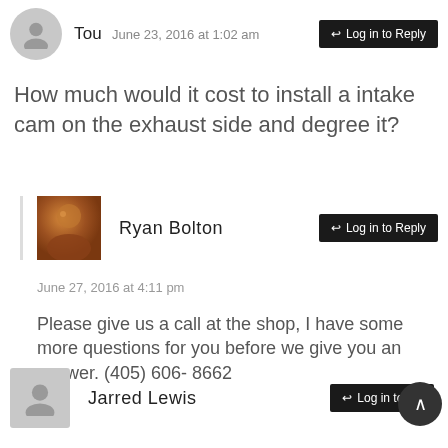Tou   June 23, 2016 at 1:02 am   Log in to Reply
How much would it cost to install a intake cam on the exhaust side and degree it?
Ryan Bolton   Log in to Reply
June 27, 2016 at 4:11 pm
Please give us a call at the shop, I have some more questions for you before we give you an answer. (405) 606- 8662
Jarred Lewis   Log in to Re